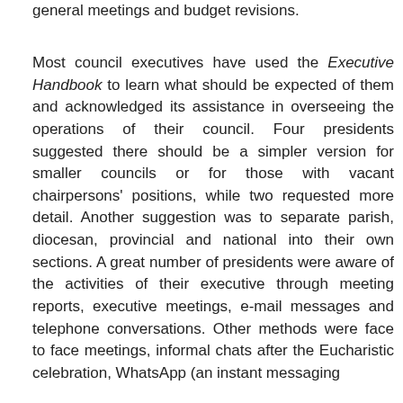general meetings and budget revisions.
Most council executives have used the Executive Handbook to learn what should be expected of them and acknowledged its assistance in overseeing the operations of their council. Four presidents suggested there should be a simpler version for smaller councils or for those with vacant chairpersons' positions, while two requested more detail. Another suggestion was to separate parish, diocesan, provincial and national into their own sections. A great number of presidents were aware of the activities of their executive through meeting reports, executive meetings, e-mail messages and telephone conversations. Other methods were face to face meetings, informal chats after the Eucharistic celebration, WhatsApp (an instant messaging